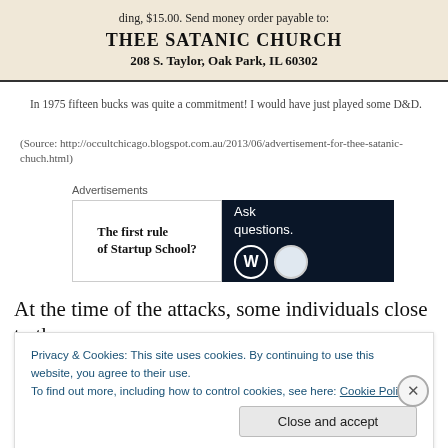[Figure (other): Scanned advertisement box for Thee Satanic Church, 208 S. Taylor, Oak Park, IL 60302, with text at top: 'ding, $15.00. Send money order payable to:']
In 1975 fifteen bucks was quite a commitment! I would have just played some D&D.
(Source: http://occultchicago.blogspot.com.au/2013/06/advertisement-for-thee-satanic-chuch.html)
Advertisements
[Figure (other): Advertisement area with two panels: left panel says 'The first rule of Startup School?', right panel is dark blue with 'Ask questions.' and WordPress and another logo]
At the time of the attacks, some individuals close to the
Privacy & Cookies: This site uses cookies. By continuing to use this website, you agree to their use.
To find out more, including how to control cookies, see here: Cookie Policy
Close and accept